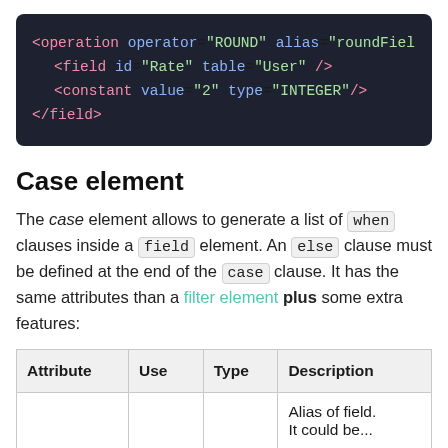[Figure (screenshot): Dark-themed code block showing XML snippet: <operation operator="ROUND" alias="roundFiel..."> <field id="Rate" table="User" /> <constant value="2" type="INTEGER"/> </field>]
Case element
The case element allows to generate a list of when clauses inside a field element. An else clause must be defined at the end of the case clause. It has the same attributes than a filter element plus some extra features:
| Attribute | Use | Type | Description |
| --- | --- | --- | --- |
|  |  |  | Alias of field. It could be... |